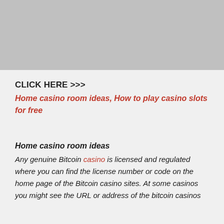[Figure (other): Gray banner image placeholder at the top of the page]
CLICK HERE >>>
Home casino room ideas, How to play casino slots for free
Home casino room ideas
Any genuine Bitcoin casino is licensed and regulated where you can find the license number or code on the home page of the Bitcoin casino sites. At some casinos you might see the URL or address of the bitcoin casinos